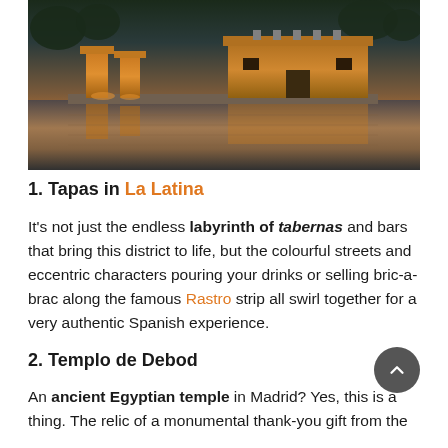[Figure (photo): Illuminated ancient Egyptian-style temple (Templo de Debod) reflected in water at dusk, with golden-lit pillars and main structure against a purple-blue twilight sky]
1. Tapas in La Latina
It's not just the endless labyrinth of tabernas and bars that bring this district to life, but the colourful streets and eccentric characters pouring your drinks or selling bric-a-brac along the famous Rastro strip all swirl together for a very authentic Spanish experience.
2. Templo de Debod
An ancient Egyptian temple in Madrid? Yes, this is a thing. The relic of a monumental thank-you gift from the